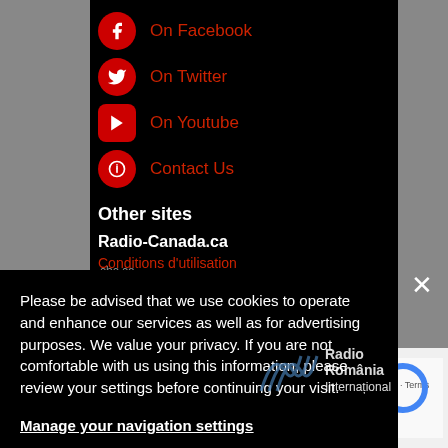On Facebook
On Twitter
On Youtube
Contact Us
Other sites
Radio-Canada.ca
Conditions d'utilisation
Please be advised that we use cookies to operate and enhance our services as well as for advertising purposes. We value your privacy. If you are not comfortable with us using this information, please review your settings before continuing your visit.
Manage your navigation settings
Find out more
[Figure (logo): Radio România International logo]
swissinfo.ch